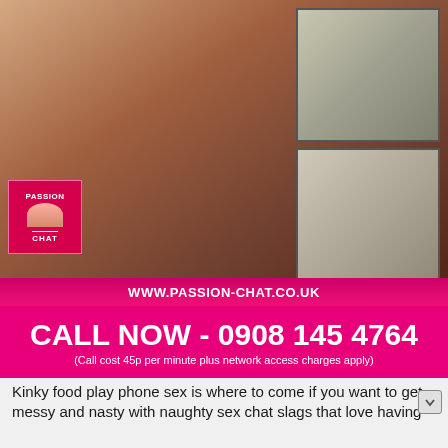[Figure (photo): Adult content advertisement image showing person in kitchen setting with two inset thumbnail images]
WWW.PASSION-CHAT.CO.UK
CALL NOW - 0908 145 4764
(Call cost 45p per minute plus network access charges apply)
Kinky food play phone sex is where to come if you want to get messy and nasty with naughty sex chat slags that love having